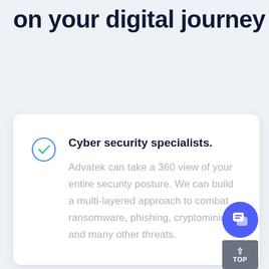on your digital journey
Cyber security specialists.
Advatek can take a 360 view of your entire security posture. We can build a multi-layered approach to combat ransomware, phishing, cryptomining and many other threats.
[Figure (illustration): Blue circular chat/message button icon]
[Figure (illustration): Grey TOP button with upward arrow]